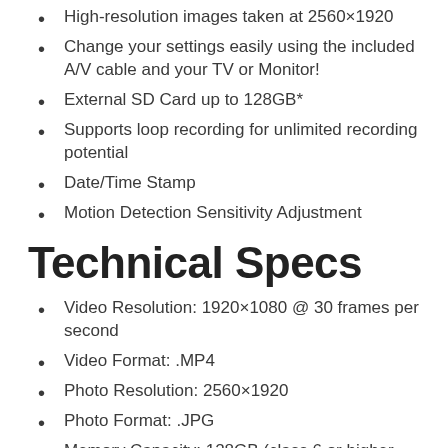High-resolution images taken at 2560×1920
Change your settings easily using the included A/V cable and your TV or Monitor!
External SD Card up to 128GB*
Supports loop recording for unlimited recording potential
Date/Time Stamp
Motion Detection Sensitivity Adjustment
Technical Specs
Video Resolution: 1920×1080 @ 30 frames per second
Video Format: .MP4
Photo Resolution: 2560×1920
Photo Format: .JPG
Memory Capacity: 128GB (class 6 or higher card)